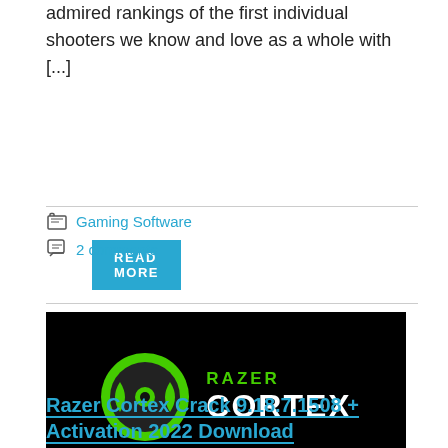admired rankings of the first individual shooters we know and love as a whole with [...]
READ MORE
Gaming Software
2 comments
[Figure (logo): Razer Cortex logo on black background with green circular icon and text 'RAZER CORTEX' in white/green]
Razer Cortex Crack 9.18.7.1508 + Activation 2022 Download